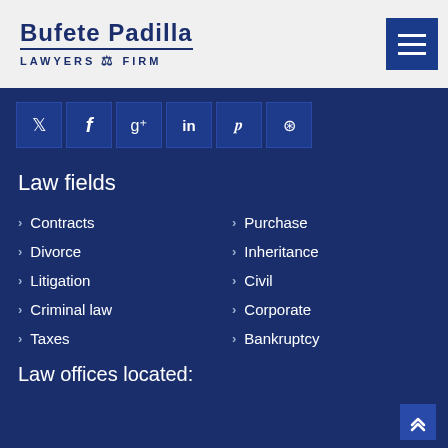Bufete Padilla LAWYERS FIRM
Law fields
Contracts
Purchase
Divorce
Inheritance
Litigation
Civil
Criminal law
Corporate
Taxes
Bankruptcy
Law offices located: